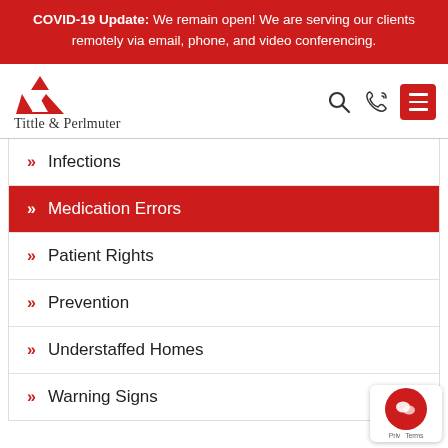COVID-19 Update: We remain open! We are serving our clients remotely via email, phone, and video conferencing.
[Figure (logo): Tittle & Perlmuter law firm logo with red triangle icon and firm name]
Infections
Medication Errors
Patient Rights
Prevention
Understaffed Homes
Warning Signs